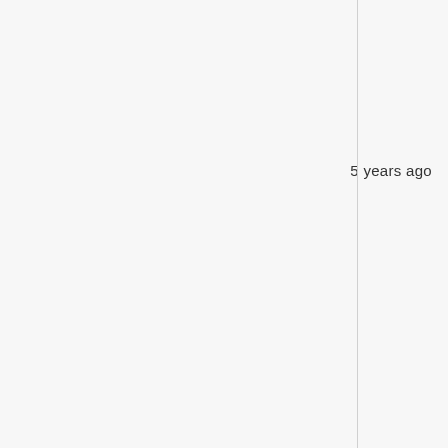n podcast comments. ...
5 years ago
rpto bugs.
5 years ago